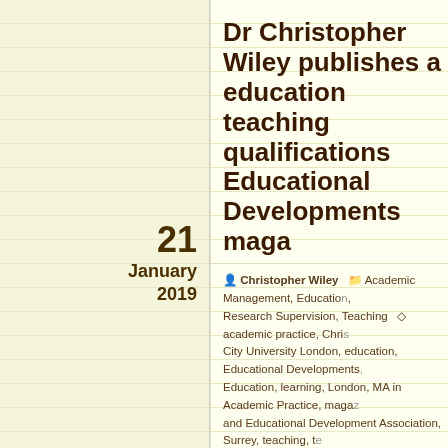Dr Christopher Wiley publishes a higher education teaching qualifications article in Educational Developments magazine
Christopher Wiley | Academic Management, Education, Research Supervision, Teaching | academic practice, Christopher Wiley, City University London, education, Educational Developments, Education, learning, London, MA in Academic Practice, magazine, Staff and Educational Development Association, Surrey, teaching, teaching qualifications, University, University of Surrey, Wiley | Lea...
Dr Christopher Wiley has published an article in the December 2018 issue (Issue 19.4) of Educational Developments, The Magazine of the Staff and Educational Development Association (SEDA).
[Figure (logo): SEDA (Staff and Educational Development Association) logo showing stylized human figure with raised arms and diamond shapes, in teal/dark green color]
Dr Wiley's article provides a ten-year retrospective reflection on the MA in Academic Practice at City University London, from which as well as discussing the benefits of higher education teaching...